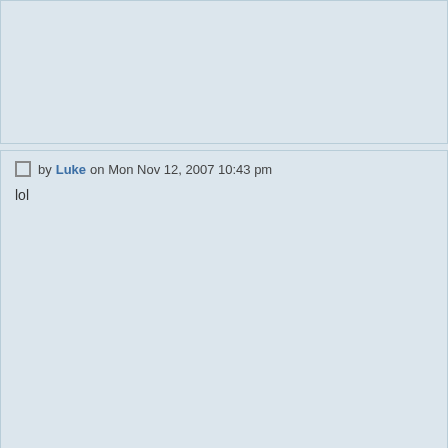(top post area, partially visible)
by Luke on Mon Nov 12, 2007 10:43 pm
lol
by Sebster on Sat Nov 24, 2007 7:28 pm
My girl got a girlfriend, I just found out but it's aight as long as I can be wi
My girl got a girlfriend it really is not a problem cuz Ima make it do what i
havin two chics is better than no chics